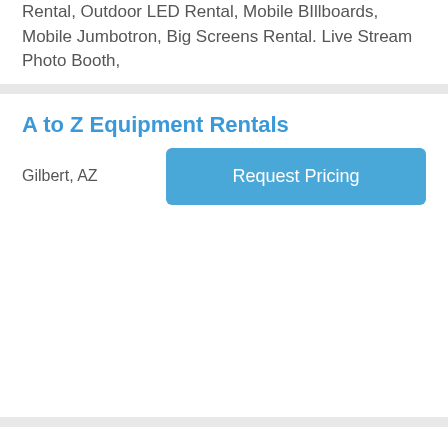Rental, Outdoor LED Rental, Mobile BIllboards, Mobile Jumbotron, Big Screens Rental. Live Stream Photo Booth,
A to Z Equipment Rentals
Gilbert, AZ
LinkHelpers Web Designer
Phoenix, AZ